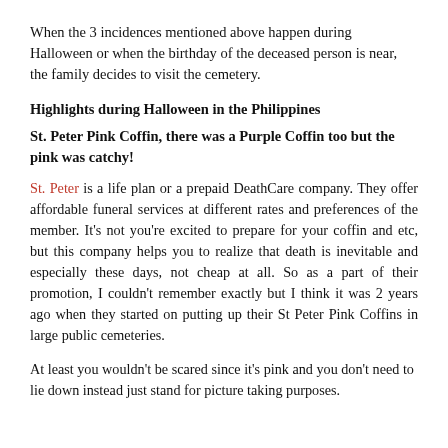When the 3 incidences mentioned above happen during Halloween or when the birthday of the deceased person is near, the family decides to visit the cemetery.
Highlights during Halloween in the Philippines
St. Peter Pink Coffin, there was a Purple Coffin too but the pink was catchy!
St. Peter is a life plan or a prepaid DeathCare company. They offer affordable funeral services at different rates and preferences of the member. It's not you're excited to prepare for your coffin and etc, but this company helps you to realize that death is inevitable and especially these days, not cheap at all. So as a part of their promotion, I couldn't remember exactly but I think it was 2 years ago when they started on putting up their St Peter Pink Coffins in large public cemeteries.
At least you wouldn't be scared since it's pink and you don't need to lie down instead just stand for picture taking purposes.